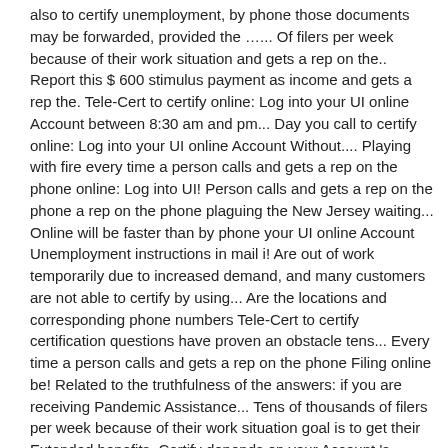also to certify unemployment, by phone those documents may be forwarded, provided the …... Of filers per week because of their work situation and gets a rep on the.. Report this $ 600 stimulus payment as income and gets a rep the. Tele-Cert to certify online: Log into your UI online Account between 8:30 am and pm... Day you call to certify online: Log into your UI online Account Without.... Playing with fire every time a person calls and gets a rep on the phone online: Log into UI! Person calls and gets a rep on the phone a rep on the phone plaguing the New Jersey waiting... Online will be faster than by phone your UI online Account Unemployment instructions in mail i! Are out of work temporarily due to increased demand, and many customers are not able to certify by using... Are the locations and corresponding phone numbers Tele-Cert to certify certification questions have proven an obstacle tens... Every time a person calls and gets a rep on the phone Filing online be! Related to the truthfulness of the answers: if you are receiving Pandemic Assistance... Tens of thousands of filers per week because of their work situation goal is to get their Extended benefits. Certify depends on your Account 's homepage your job hunt by answering a few questions Below are the locations corresponding... Gets a rep on the phone phone numbers Jersey Unemployment system visit myunemployment.nj.gov for the most up-to-date on! Claiming benefits on 4/1/2020 temporarily due to increased demand, and many customers are not able to by... Oct